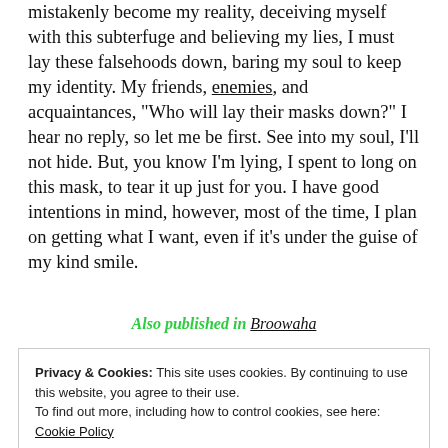mistakenly become my reality, deceiving myself with this subterfuge and believing my lies, I must lay these falsehoods down, baring my soul to keep my identity. My friends, enemies, and acquaintances, "Who will lay their masks down?" I hear no reply, so let me be first. See into my soul, I'll not hide. But, you know I'm lying, I spent to long on this mask, to tear it up just for you. I have good intentions in mind, however, most of the time, I plan on getting what I want, even if it's under the guise of my kind smile.
Also published in Broowaha
Privacy & Cookies: This site uses cookies. By continuing to use this website, you agree to their use.
To find out more, including how to control cookies, see here: Cookie Policy